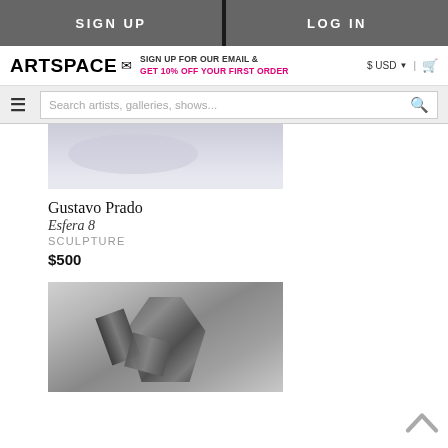SIGN UP | LOG IN
ARTSPACE — SIGN UP FOR OUR EMAIL & GET 10% OFF YOUR FIRST ORDER — $ USD | cart
Search artists, galleries, shows...
[Figure (photo): Partial view of a sculpture or figure, blurred/soft focus, light gray and lavender tones]
Gustavo Prado
Esfera 8
SCULPTURE
$500
[Figure (photo): Black and white photo of a shiny metallic sculpture resembling a figure holding or wearing geometric angular shapes, against a light gray background]